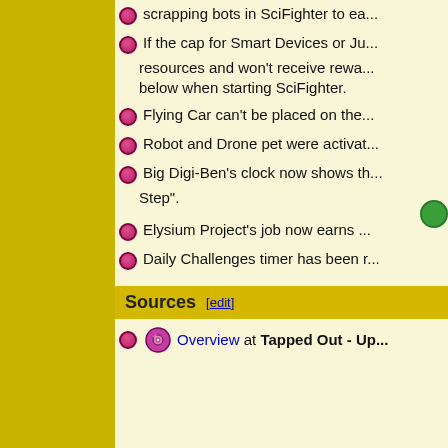scrapping bots in SciFighter to ea...
If the cap for Smart Devices or Ju... resources and won't receive rewa... below when starting SciFighter.
Flying Car can't be placed on the...
Robot and Drone pet were activat...
Big Digi-Ben's clock now shows t... Step".
Elysium Project's job now earns ...
Daily Challenges timer has been r...
Sources [edit]
Overview at Tapped Out - Up...
view · talk · edit · past   The Simpsons:...
Categories:  2016  |  The Simpsons: T...